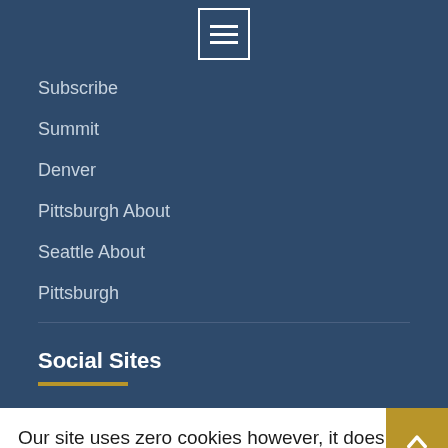[Figure (screenshot): Hamburger menu icon button with three white horizontal lines inside a white-bordered square, centered at top of dark blue navigation area]
Subscribe
Summit
Denver
Pittsburgh About
Seattle About
Pittsburgh
Social Sites
Our site uses zero cookies however, it does collect some base data. Ref: Privacy Policy.